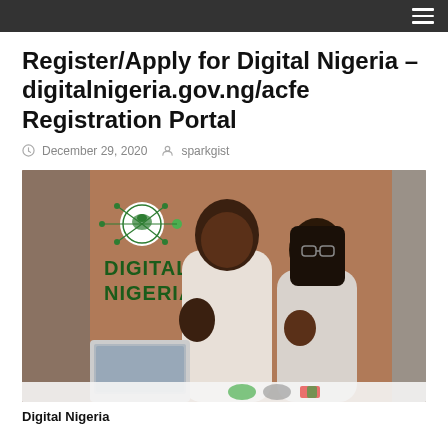Register/Apply for Digital Nigeria – digitalnigeria.gov.ng/acfe Registration Portal
December 29, 2020  sparkgist
[Figure (photo): Two young Nigerians celebrating while looking at a laptop, with a Digital Nigeria branded banner/logo visible in the background on a brown/terracotta background.]
Digital Nigeria